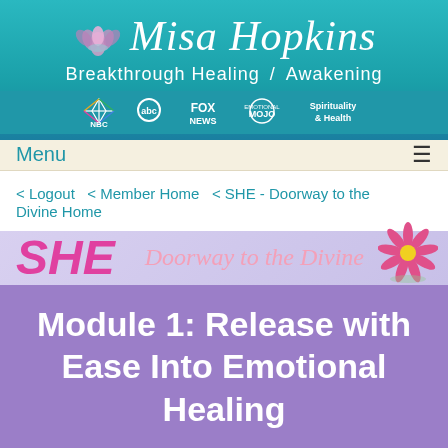[Figure (logo): Misa Hopkins Breakthrough Healing / Awakening logo with lotus flower and media logos (NBC, ABC, FOX NEWS, Emotional MOJO, Spirituality & Health)]
Menu
< Logout  < Member Home  < SHE - Doorway to the Divine Home
[Figure (logo): SHE - Doorway to the Divine banner with pink flower]
Module 1: Release with Ease Into Emotional Healing